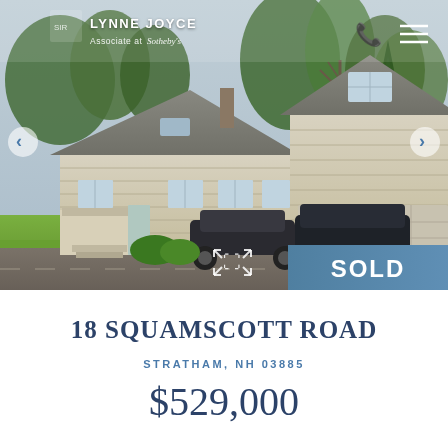[Figure (photo): Exterior photo of a white/beige Cape Cod style home at 18 Squamscott Road, Stratham, NH. Two-car garage visible on right. Two vehicles parked in driveway. Green lawn on left. Trees in background. Navigation overlay with LYNNE JOYCE / Sotheby's branding at top. SOLD badge in bottom right corner of photo.]
18 SQUAMSCOTT ROAD
STRATHAM, NH 03885
$529,000